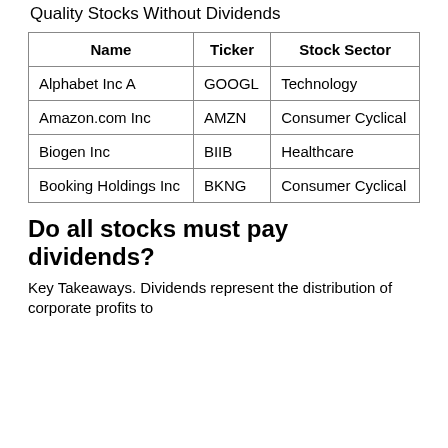Quality Stocks Without Dividends
| Name | Ticker | Stock Sector |
| --- | --- | --- |
| Alphabet Inc A | GOOGL | Technology |
| Amazon.com Inc | AMZN | Consumer Cyclical |
| Biogen Inc | BIIB | Healthcare |
| Booking Holdings Inc | BKNG | Consumer Cyclical |
Do all stocks must pay dividends?
Key Takeaways. Dividends represent the distribution of corporate profits to